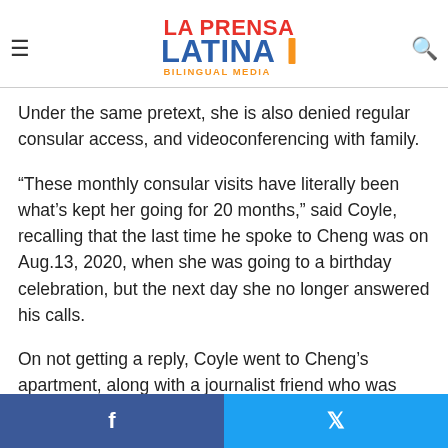La Prensa Latina Bilingual Media
Under the same pretext, she is also denied regular consular access, and videoconferencing with family.
“These monthly consular visits have literally been what’s kept her going for 20 months,” said Coyle, recalling that the last time he spoke to Cheng was on Aug.13, 2020, when she was going to a birthday celebration, but the next day she no longer answered his calls.
On not getting a reply, Coyle went to Cheng’s apartment, along with a journalist friend who was later also arrested, where he saw that “everything kind of looked normal. Until I could see
Facebook share | Twitter share